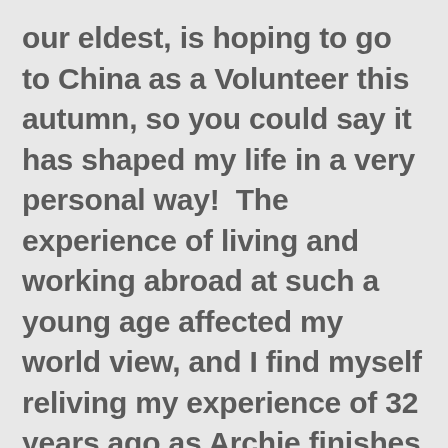our eldest, is hoping to go to China as a Volunteer this autumn, so you could say it has shaped my life in a very personal way!  The experience of living and working abroad at such a young age affected my world view, and I find myself reliving my experience of 32 years ago as Archie finishes school and looks (hopefully) to his year ahead.